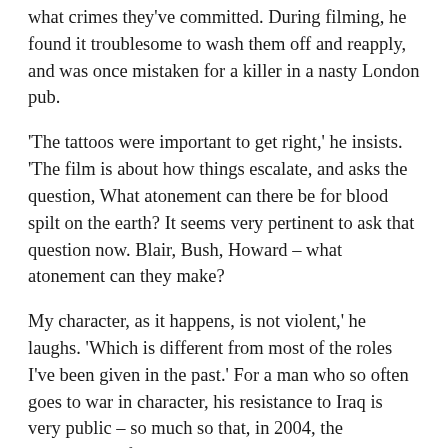what crimes they've committed. During filming, he found it troublesome to wash them off and reapply, and was once mistaken for a killer in a nasty London pub.
'The tattoos were important to get right,' he insists. 'The film is about how things escalate, and asks the question, What atonement can there be for blood spilt on the earth? It seems very pertinent to ask that question now. Blair, Bush, Howard – what atonement can they make?
My character, as it happens, is not violent,' he laughs. 'Which is different from most of the roles I've been given in the past.' For a man who so often goes to war in character, his resistance to Iraq is very public – so much so that, in 2004, the conservative film critic Michael Medved attacked him in USA Today for his 'pacifist preening'.
He's been known to send journalists anti-war t-shirts, and in August 2005 he joined Cindy Sheehan on the dusty